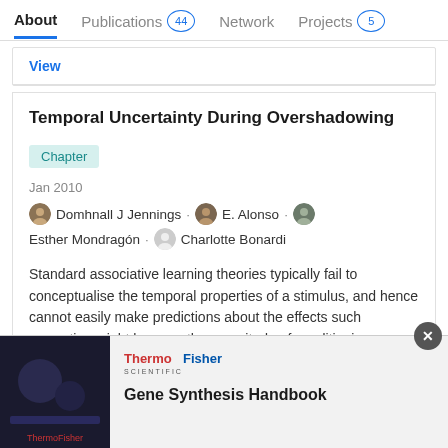About   Publications 44   Network   Projects 5
View
Temporal Uncertainty During Overshadowing
Chapter
Jan 2010
Domhnall J Jennings · E. Alonso · Esther Mondragón · Charlotte Bonardi
Standard associative learning theories typically fail to conceptualise the temporal properties of a stimulus, and hence cannot easily make predictions about the effects such properties might have on the magnitude of conditioning phenomena. Despite this, in intuitive terms we might expect that
[Figure (screenshot): Advertisement banner for ThermoFisher Scientific Gene Synthesis Handbook with dark scientific imagery on the left and logo/title on the right]